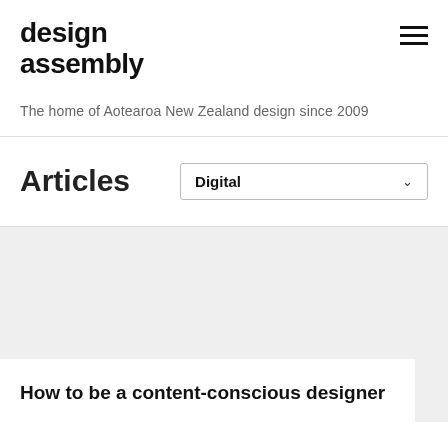design assembly
The home of Aotearoa New Zealand design since 2009
Articles
Digital
How to be a content-conscious designer